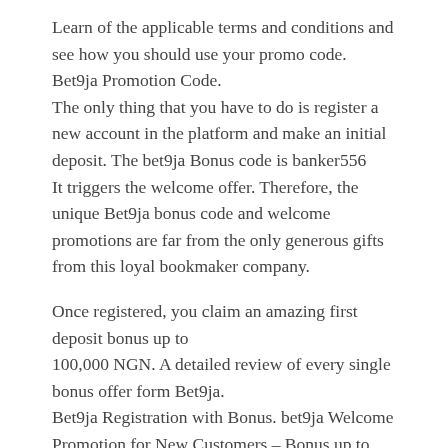Learn of the applicable terms and conditions and see how you should use your promo code. Bet9ja Promotion Code.
The only thing that you have to do is register a new account in the platform and make an initial deposit. The bet9ja Bonus code is banker556
It triggers the welcome offer. Therefore, the unique Bet9ja bonus code and welcome promotions are far from the only generous gifts from this loyal bookmaker company.
Once registered, you claim an amazing first deposit bonus up to
100,000 NGN. A detailed review of every single bonus offer form Bet9ja.
Bet9ja Registration with Bonus. bet9ja Welcome Promotion for New Customers – Bonus up to ₦100 000 . Bet9ja will also award 1 Bet9ja League Free Bet upon first deposit.